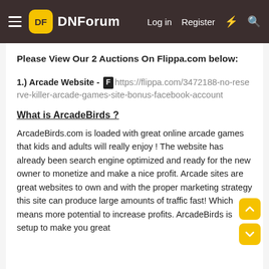DNForum — Log in  Register
Please View Our 2 Auctions On Flippa.com below:
1.) Arcade Website - [F] https://flippa.com/3472188-no-reserve-killer-arcade-games-site-bonus-facebook-account
What is ArcadeBirds ?
ArcadeBirds.com is loaded with great online arcade games that kids and adults will really enjoy ! The website has already been search engine optimized and ready for the new owner to monetize and make a nice profit. Arcade sites are great websites to own and with the proper marketing strategy this site can produce large amounts of traffic fast! Which means more potential to increase profits. ArcadeBirds is setup to make you great